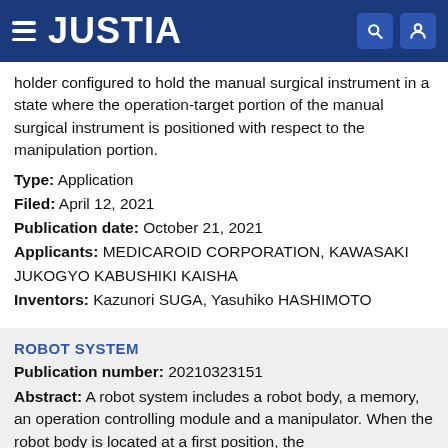JUSTIA
holder configured to hold the manual surgical instrument in a state where the operation-target portion of the manual surgical instrument is positioned with respect to the manipulation portion.
Type: Application
Filed: April 12, 2021
Publication date: October 21, 2021
Applicants: MEDICAROID CORPORATION, KAWASAKI JUKOGYO KABUSHIKI KAISHA
Inventors: Kazunori SUGA, Yasuhiko HASHIMOTO
ROBOT SYSTEM
Publication number: 20210323151
Abstract: A robot system includes a robot body, a memory, an operation controlling module and a manipulator. When the robot body is located at a first position, the...